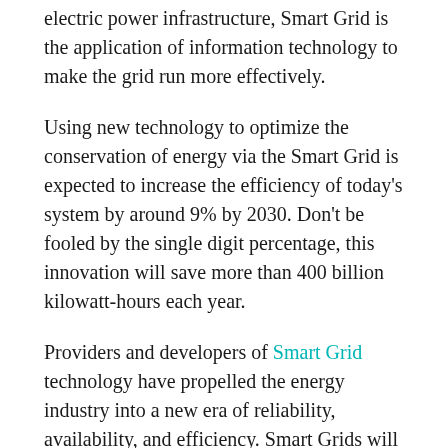electric power infrastructure, Smart Grid is the application of information technology to make the grid run more effectively.
Using new technology to optimize the conservation of energy via the Smart Grid is expected to increase the efficiency of today's system by around 9% by 2030. Don't be fooled by the single digit percentage, this innovation will save more than 400 billion kilowatt-hours each year.
Providers and developers of Smart Grid technology have propelled the energy industry into a new era of reliability, availability, and efficiency. Smart Grids will  also help to integrate an increasing amount of renewable energy generation into the grid and allow smarter ways